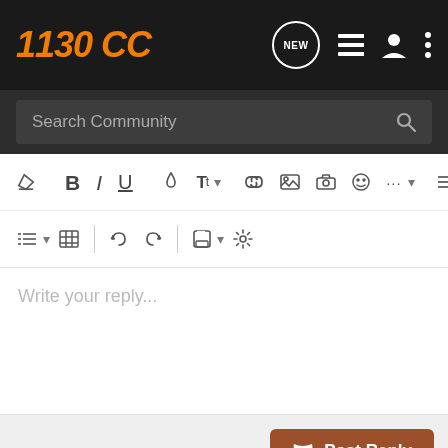[Figure (screenshot): 1130CC community forum website header with orange logo, navigation icons including NEW badge, list, user, and menu icons]
[Figure (screenshot): Search Community search bar on dark background]
[Figure (screenshot): Text editor toolbar with formatting buttons: eraser, bold, italic, underline, color, font size, link, image, camera, emoji, more, align; second row: list, table, undo, redo, save, settings]
Write your reply...
[Figure (screenshot): Post Reply button in brown/orange color]
Recommended Reading